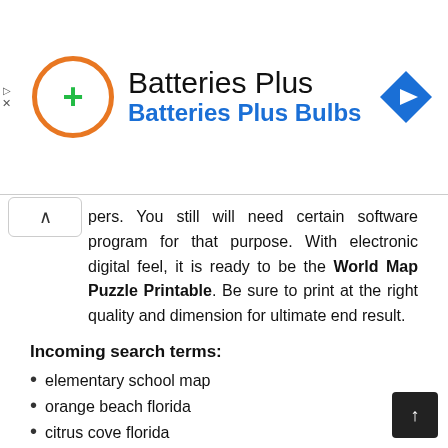[Figure (other): Batteries Plus advertisement banner with orange circle logo containing a green plus sign, company name 'Batteries Plus' and subtitle 'Batteries Plus Bulbs' in blue, and a blue navigation diamond icon on the right]
pers. You still will need certain software program for that purpose. With electronic digital feel, it is ready to be the World Map Puzzle Printable. Be sure to print at the right quality and dimension for ultimate end result.
Incoming search terms:
elementary school map
orange beach florida
citrus cove florida
usa map
tornado alley map
us map
sarasota florida map